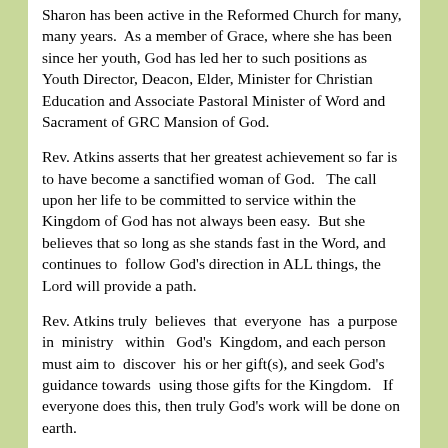Sharon has been active in the Reformed Church for many, many years.  As a member of Grace, where she has been since her youth, God has led her to such positions as Youth Director, Deacon, Elder, Minister for Christian Education and Associate Pastoral Minister of Word and Sacrament of GRC Mansion of God.
Rev. Atkins asserts that her greatest achievement so far is to have become a sanctified woman of God.   The call upon her life to be committed to service within the Kingdom of God has not always been easy.  But she believes that so long as she stands fast in the Word, and continues to  follow God's direction in ALL things, the Lord will provide a path.
Rev. Atkins truly  believes  that  everyone  has  a purpose  in  ministry   within   God's  Kingdom, and each person  must aim to  discover  his or her gift(s), and seek God's guidance towards  using those gifts for the Kingdom.   If everyone does this, then truly God's work will be done on earth.
With her new Pastorate at the Bethany Memorial Reformed Church...